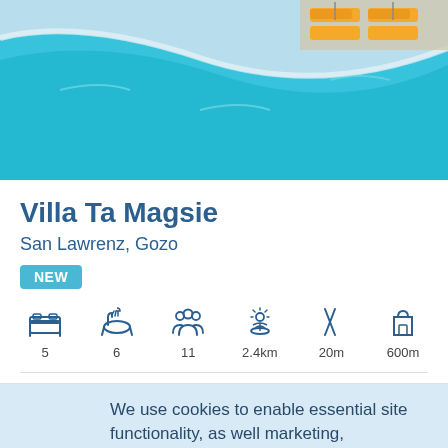[Figure (photo): Aerial view of a blue swimming pool with orange sun loungers visible in the top right corner]
Villa Ta Magsie
San Lawrenz, Gozo
NEW
[Figure (infographic): Amenity icons row: bed (5), bath (6), guests (11), beach (2.4km), restaurant (20m), shop (600m)]
We use cookies to enable essential site functionality, as well marketing, personalisation and analytics. You may change your settings at any time or accept the default settings. View Cookie Policy   Manage Preferences
Accept all cookies